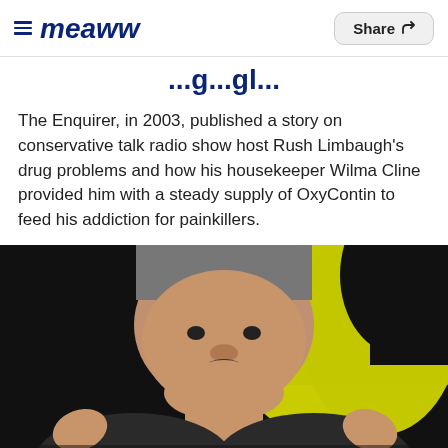≡ Meaww  Share ↗
...g...gl...
The Enquirer, in 2003, published a story on conservative talk radio show host Rush Limbaugh's drug problems and how his housekeeper Wilma Cline provided him with a steady supply of OxyContin to feed his addiction for painkillers.
[Figure (photo): Photo of Rush Limbaugh speaking, with yellow background, mouth open, hands raised, in front of a dark backdrop.]